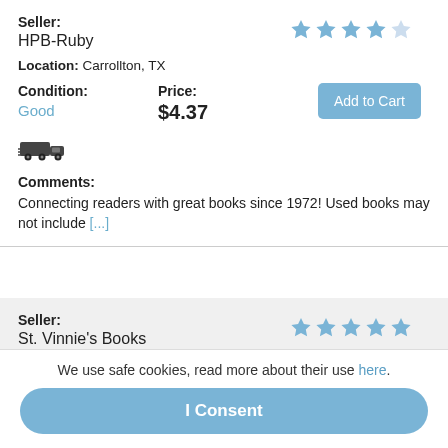Seller: HPB-Ruby
Location: Carrollton, TX
Condition: Good
Price: $4.37
Comments: Connecting readers with great books since 1972! Used books may not include [...]
Seller: St. Vinnie's Books
Location: Eugene, OR
Condition:
Price:
We use safe cookies, read more about their use here.